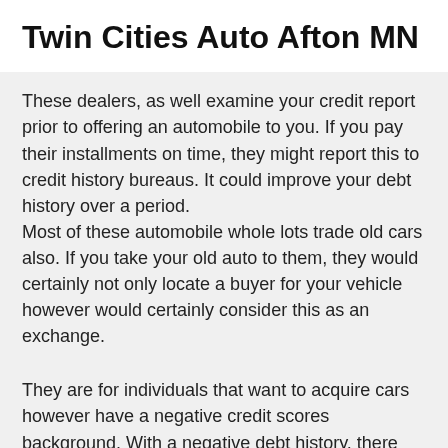Twin Cities Auto Afton MN
These dealers, as well examine your credit report prior to offering an automobile to you. If you pay their installments on time, they might report this to credit history bureaus. It could improve your debt history over a period.
Most of these automobile whole lots trade old cars also. If you take your old auto to them, they would certainly not only locate a buyer for your vehicle however would certainly consider this as an exchange.
They are for individuals that want to acquire cars however have a negative credit scores background. With a negative debt history, there are not several vehicle lending alternatives available. When you go to a typical car display room, you look at the cars